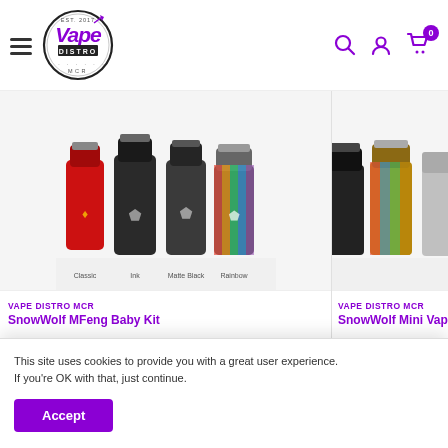Vape Distro MCR — Navigation header with logo, search, user, and cart icons
[Figure (photo): SnowWolf MFeng Baby Kit product image showing multiple color variants of a vape kit including red, black, and rainbow/multicolor versions]
VAPE DISTRO MCR
SnowWolf MFeng Baby Kit
[Figure (photo): SnowWolf Mini Vape product image showing multiple color variants partially visible on the right side]
VAPE DISTRO MCR
SnowWolf Mini Vape
This site uses cookies to provide you with a great user experience.
If you're OK with that, just continue.
Accept